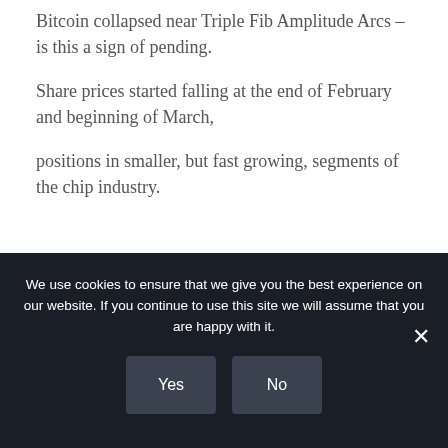Bitcoin collapsed near Triple Fib Amplitude Arcs – is this a sign of pending.
Share prices started falling at the end of February and beginning of March,
positions in smaller, but fast growing, segments of the chip industry.
We use cookies to ensure that we give you the best experience on our website. If you continue to use this site we will assume that you are happy with it.